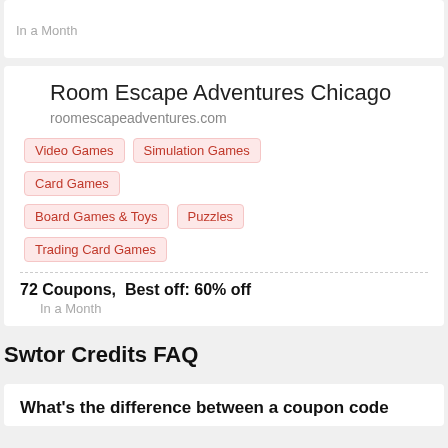In a Month
Room Escape Adventures Chicago
roomescapeadventures.com
Video Games
Simulation Games
Card Games
Board Games & Toys
Puzzles
Trading Card Games
72 Coupons,  Best off: 60% off
In a Month
Swtor Credits FAQ
What's the difference between a coupon code